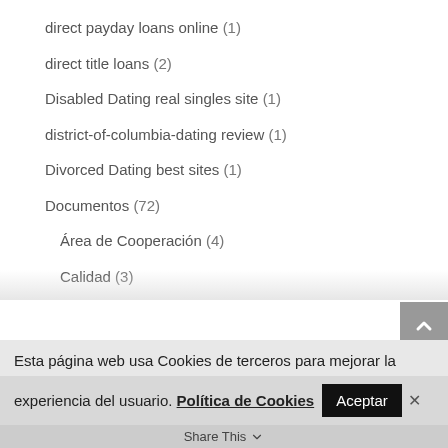direct payday loans online (1)
direct title loans (2)
Disabled Dating real singles site (1)
district-of-columbia-dating review (1)
Divorced Dating best sites (1)
Documentos (72)
Área de Cooperación (4)
Calidad (3)
Esta página web usa Cookies de terceros para mejorar la experiencia del usuario. Política de Cookies
Share This